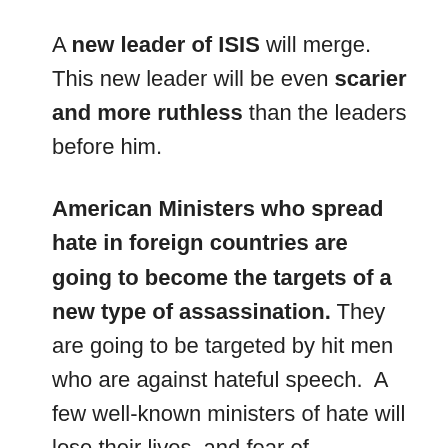A new leader of ISIS will merge. This new leader will be even scarier and more ruthless than the leaders before him.
American Ministers who spread hate in foreign countries are going to become the targets of a new type of assassination. They are going to be targeted by hit men who are against hateful speech.  A few well-known ministers of hate will lose their lives, and fear of spreading hate speech will spread among the ministers of the religious right. Uganda and Russia will be the first countries